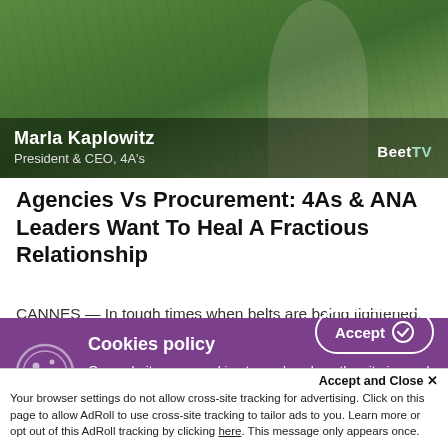[Figure (screenshot): Video thumbnail showing Marla Kaplowitz, President & CEO of 4A's, with plant background. BeetTV logo visible in bottom right.]
Agencies Vs Procurement: 4As & ANA Leaders Want To Heal A Fractious Relationship
CANNES — In tough times when belts are being tightened, how can marketing agencies fight for corporate dollars to spend? In this fireside chat at Cannes Lions, two industry group leaders debated how internal structures shape
Cookies policy
Our website uses cookies to analyse how the site is used and to ensure your experience is
Accept and Close ✕
Your browser settings do not allow cross-site tracking for advertising. Click on this page to allow AdRoll to use cross-site tracking to tailor ads to you. Learn more or opt out of this AdRoll tracking by clicking here. This message only appears once.